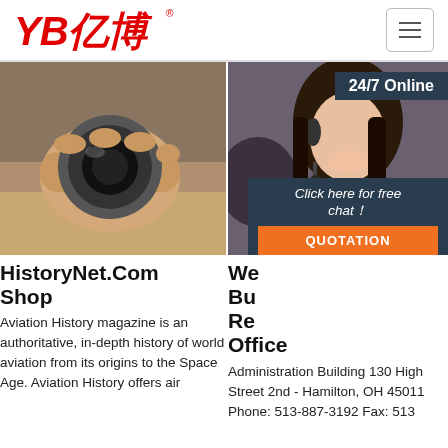[Figure (logo): YB亿博 company logo in red italic text with registered trademark symbol]
[Figure (photo): Hand holding end of a hydraulic hose showing circular cross-section]
HistoryNet.Com Shop
Aviation History magazine is an authoritative, in-depth history of world aviation from its origins to the Space Age. Aviation History offers air
[Figure (photo): Customer service woman with headset smiling, with 24/7 Online banner and chat overlay saying Click here for free chat! with QUOTATION button]
We Bu Re Office
Administration Building 130 High Street 2nd - Hamilton, OH 45011 Phone: 513-887-3192 Fax: 513